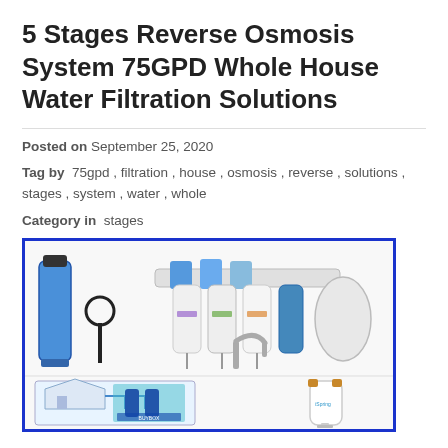5 Stages Reverse Osmosis System 75GPD Whole House Water Filtration Solutions
Posted on September 25, 2020
Tag by  75gpd , filtration , house , osmosis , reverse , solutions , stages , system , water , whole
Category in  stages
[Figure (photo): Product image showing a 5-stage reverse osmosis water filtration system with filter housings, faucet, and whole-house filter components on white background, plus a diagram of a house water system and a whole-house filter unit with wrench.]